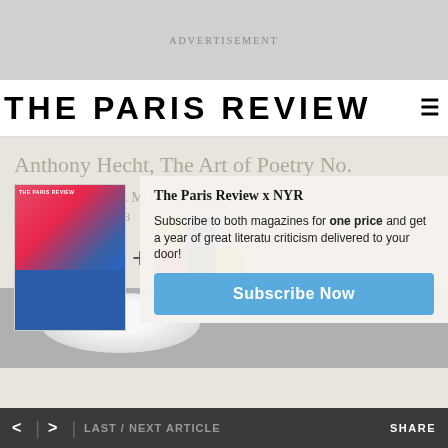ADVERTISEMENT
THE PARIS REVIEW
Anthony Hecht, The Art of Poetry No.
Interviewed by J. D. McClatchy
ISSUE 108, FALL 1988
[Figure (illustration): Two magazine covers side by side with a plus sign between them. Left: The Paris Review colorful cover. Right: A grid-patterned magazine cover.]
The Paris Review x NYR
Subscribe to both magazines for one price and get a year of great literature criticism delivered to your door!
Subscribe Now
[Figure (photo): Black and white photograph of a person with white hair, partially visible at the bottom of the page.]
< > LAST / NEXT ARTICLE    SHARE